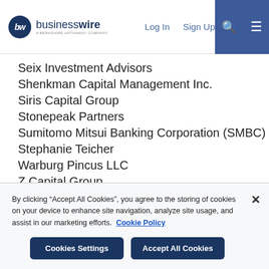businesswire - A BERKSHIRE HATHAWAY COMPANY | Log In | Sign Up
Seix Investment Advisors
Shenkman Capital Management Inc.
Siris Capital Group
Stonepeak Partners
Sumitomo Mitsui Banking Corporation (SMBC)
Stephanie Teicher
Warburg Pincus LLC
Z Capital Group
About Melanoma Research Alliance (MRA)
By clicking “Accept All Cookies”, you agree to the storing of cookies on your device to enhance site navigation, analyze site usage, and assist in our marketing efforts. Cookie Policy
Cookies Settings | Accept All Cookies